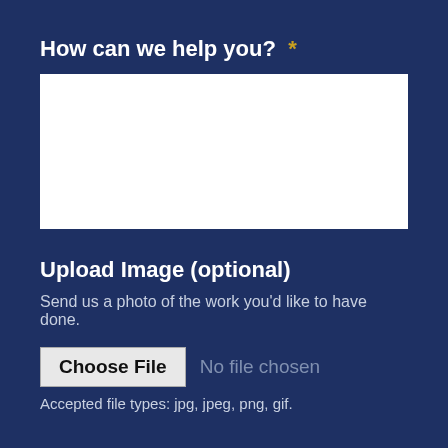How can we help you? *
[Figure (screenshot): White textarea input box for user text entry]
Upload Image (optional)
Send us a photo of the work you'd like to have done.
[Figure (screenshot): File input with 'Choose File' button and 'No file chosen' placeholder text]
Accepted file types: jpg, jpeg, png, gif.